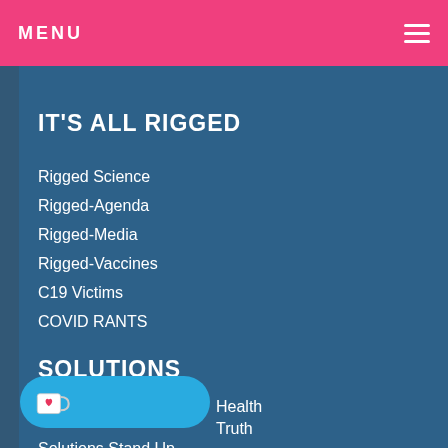MENU
IT'S ALL RIGGED
Rigged Science
Rigged-Agenda
Rigged-Media
Rigged-Vaccines
C19 Victims
COVID RANTS
SOLUTIONS
Health
Truth
Solutions Stand Up
[Figure (logo): Ko-fi donation button with coffee cup icon and heart]